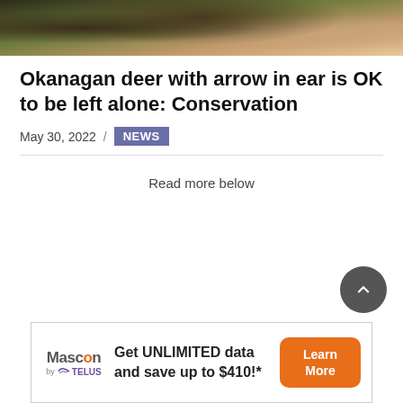[Figure (photo): Close-up photo of deer fur/coat, dark brown and light tan colors visible at top of page]
Okanagan deer with arrow in ear is OK to be left alone: Conservation
May 30, 2022 / NEWS
Read more below
[Figure (infographic): Advertisement banner: Mascon by TELUS - Get UNLIMITED data and save up to $410!* Learn More button]